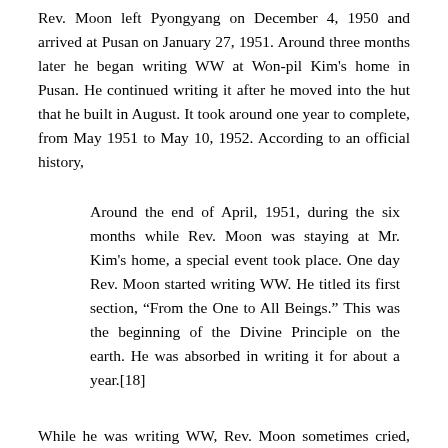Rev. Moon left Pyongyang on December 4, 1950 and arrived at Pusan on January 27, 1951. Around three months later he began writing WW at Won-pil Kim's home in Pusan. He continued writing it after he moved into the hut that he built in August. It took around one year to complete, from May 1951 to May 10, 1952. According to an official history,
Around the end of April, 1951, during the six months while Rev. Moon was staying at Mr. Kim's home, a special event took place. One day Rev. Moon started writing WW. He titled its first section, “From the One to All Beings.” This was the beginning of the Divine Principle on the earth. He was absorbed in writing it for about a year.[18]
While he was writing WW, Rev. Moon sometimes cried, sang, and prayed. Won-pil Kim testified about Rev. Moon's manner of writing, and about one event in particular:
While Father wrote WW, I was working at a military base